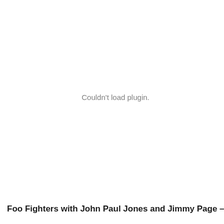[Figure (other): Plugin content area showing 'Couldn't load plugin.' error message in gray text centered in a large white space]
Foo Fighters with John Paul Jones and Jimmy Page – Rock R